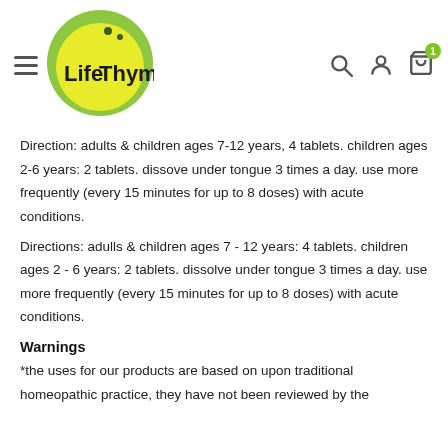[Figure (logo): LifeThyme logo — yellow-green circle with dark green dot accents and dark text 'LifeThyme' inside]
Direction: adults & children ages 7-12 years, 4 tablets. children ages 2-6 years: 2 tablets. dissove under tongue 3 times a day. use more frequently (every 15 minutes for up to 8 doses) with acute conditions.
Directions: adulls & children ages 7 - 12 years: 4 tablets. children ages 2 - 6 years: 2 tablets. dissolve under tongue 3 times a day. use more frequently (every 15 minutes for up to 8 doses) with acute conditions.
Warnings
*the uses for our products are based on upon traditional homeopathic practice, they have not been reviewed by the